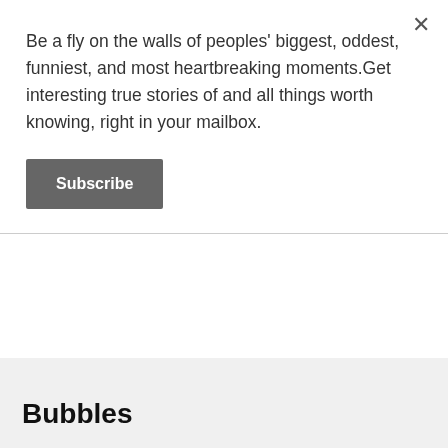Be a fly on the walls of peoples' biggest, oddest, funniest, and most heartbreaking moments.Get interesting true stories of and all things worth knowing, right in your mailbox.
Subscribe
Bubbles